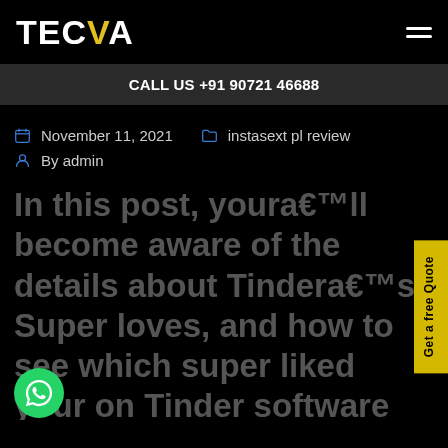TECVA
CALL US +91 90721 46688
November 11, 2021   instasext pl review   By admin
In this post, youra€™ll become aware of the details about Tindera€™s Super loves, and how to see which super liked your on Tinder software